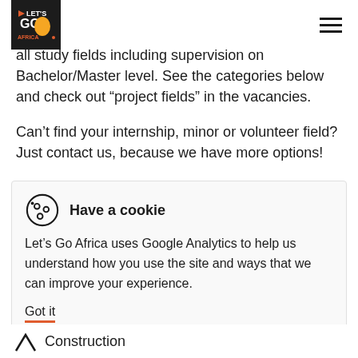LET'S GO AFRICA (logo) + hamburger menu
all study fields including supervision on Bachelor/Master level. See the categories below and check out “project fields” in the vacancies.
Can’t find your internship, minor or volunteer field? Just contact us, because we have more options!
Have a cookie
Let’s Go Africa uses Google Analytics to help us understand how you use the site and ways that we can improve your experience.
Got it
Construction